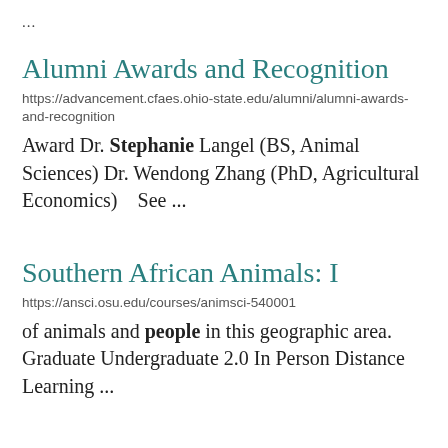...
Alumni Awards and Recognition
https://advancement.cfaes.ohio-state.edu/alumni/alumni-awards-and-recognition
Award Dr. Stephanie Langel (BS, Animal Sciences) Dr. Wendong Zhang (PhD, Agricultural Economics)    See ...
Southern African Animals: I
https://ansci.osu.edu/courses/animsci-540001
of animals and people in this geographic area. Graduate Undergraduate 2.0 In Person Distance Learning ...